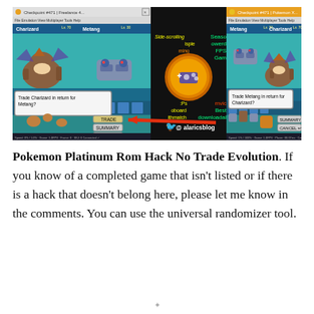[Figure (screenshot): Two side-by-side Pokémon game emulator windows showing a trade between Charizard (Lv.70) and Metang (Lv.30). Left window shows 'Trade Charizard in return for Metang?' dialog with TRADE, SUMMARY, CANCEL buttons. Center shows a gaming blog overlay logo with '@alaricsblog' Twitter handle. Right window shows 'Trade Metang in return for Charizard?' with SUMMARY and CANCEL buttons. A red arrow points from the center to the TRADE button on the left.]
Pokemon Platinum Rom Hack No Trade Evolution. If you know of a completed game that isn't listed or if there is a hack that doesn't belong here, please let me know in the comments. You can use the universal randomizer tool.